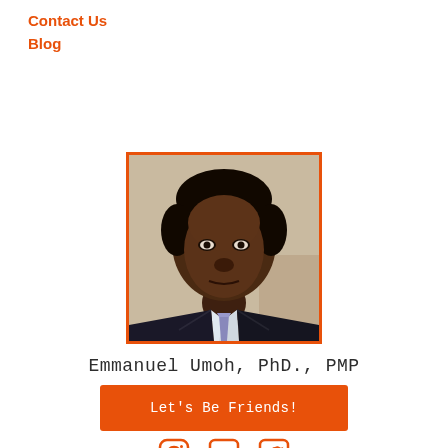Contact Us
Blog
[Figure (photo): Portrait photo of Emmanuel Umoh, PhD., PMP — a man in a dark suit with a patterned tie, orange border frame]
Emmanuel Umoh, PhD., PMP
Let's Be Friends!
[Figure (illustration): Social media icons: Instagram, Facebook, Twitter in orange]